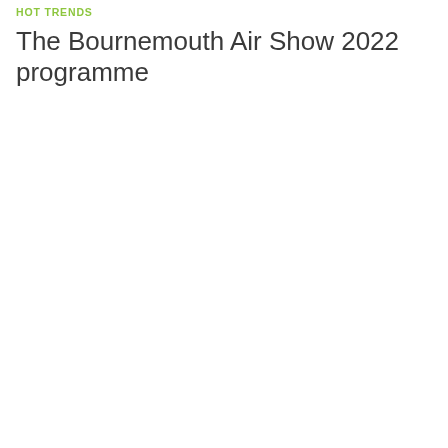HOT TRENDS
The Bournemouth Air Show 2022 programme